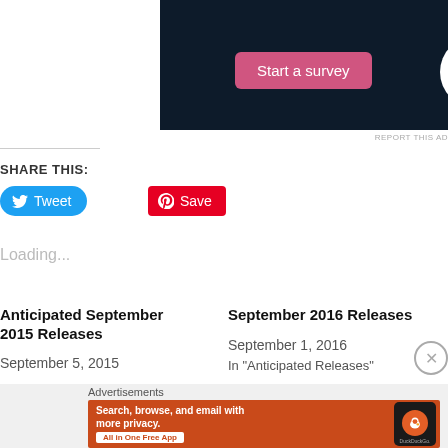[Figure (screenshot): Dark navy ad banner with a pink 'Start a survey' button and Crowdsignal circular logo on white background]
REPORT THIS AD
SHARE THIS:
[Figure (other): Twitter Tweet button (blue rounded) and Pinterest Save button (red)]
Loading...
Anticipated September 2015 Releases
September 5, 2015
September 2016 Releases
September 1, 2016
In "Anticipated Releases"
Advertisements
[Figure (screenshot): DuckDuckGo advertisement banner: orange background, text 'Search, browse, and email with more privacy. All in One Free App', with phone and duck logo on right]